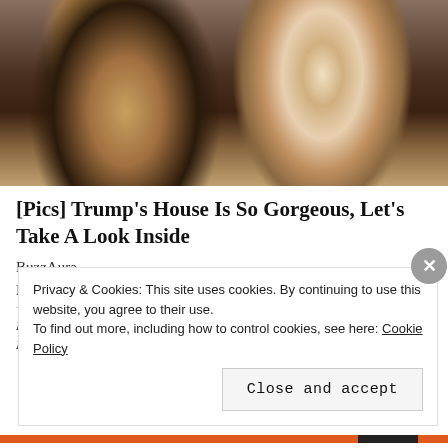[Figure (photo): Photo of a woman with long blonde hair and a man in a dark suit with a red tie, both smiling, cropped at top]
[Pics] Trump's House Is So Gorgeous, Let's Take A Look Inside
BuzzAura
Pasadena, MD 21122, USA
If you have knowledge, let others light their candles on it ~ Margaret Fuller
Privacy & Cookies: This site uses cookies. By continuing to use this website, you agree to their use.
To find out more, including how to control cookies, see here: Cookie Policy
Close and accept